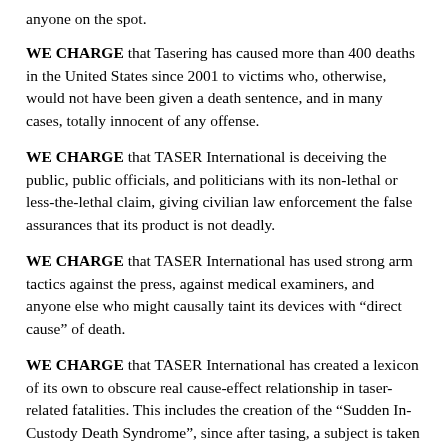anyone on the spot.
WE CHARGE that Tasering has caused more than 400 deaths in the United States since 2001 to victims who, otherwise, would not have been given a death sentence, and in many cases, totally innocent of any offense.
WE CHARGE that TASER International is deceiving the public, public officials, and politicians with its non-lethal or less-the-lethal claim, giving civilian law enforcement the false assurances that its product is not deadly.
WE CHARGE that TASER International has used strong arm tactics against the press, against medical examiners, and anyone else who might causally taint its devices with “direct cause” of death.
WE CHARGE that TASER International has created a lexicon of its own to obscure real cause-effect relationship in taser-related fatalities. This includes the creation of the “Sudden In-Custody Death Syndrome”, since after tasing, a subject is taken into custody. In theory, it is “excited delirium” of an agitated state while